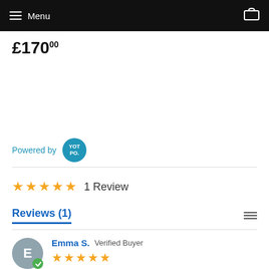Menu
£170.00
Powered by YOTPO
1 Review
Reviews (1)
Emma S. Verified Buyer